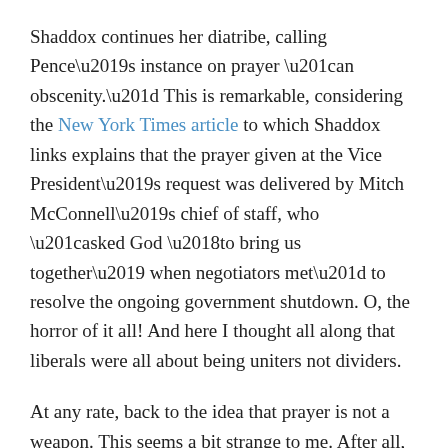Shaddox continues her diatribe, calling Pence’s instance on prayer “an obscenity.” This is remarkable, considering the New York Times article to which Shaddox links explains that the prayer given at the Vice President’s request was delivered by Mitch McConnell’s chief of staff, who “asked God ‘to bring us together’ when negotiators met” to resolve the ongoing government shutdown. O, the horror of it all! And here I thought all along that liberals were all about being uniters not dividers.
At any rate, back to the idea that prayer is not a weapon. This seems a bit strange to me. After all, the Apostle Paul wrote to the Corinthians that “the weapons of our warfare are not carnal but mighty in God.” In Ephesians, he was more pointed as to just what those weapons were and closes out his exhortation to the Christian soldier with a call to prayer. Further, the imprecatory Psalms of the Old Testament call God to take vengeance on the